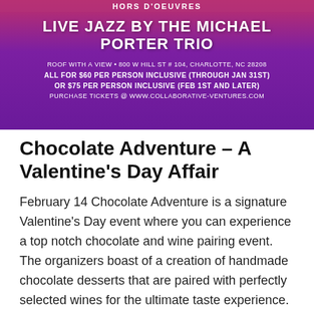[Figure (photo): Event promotional banner with purple/pink gradient background showing musicians, text 'HORS D'OEUVRES', 'LIVE JAZZ BY THE MICHAEL PORTER TRIO', venue and pricing details for Chocolate Adventure Valentine's Day event]
Chocolate Adventure – A Valentine's Day Affair
February 14 Chocolate Adventure is a signature Valentine's Day event where you can experience a top notch chocolate and wine pairing event. The organizers boast of a creation of handmade chocolate desserts that are paired with perfectly selected wines for the ultimate taste experience. Chef … Continue reading →